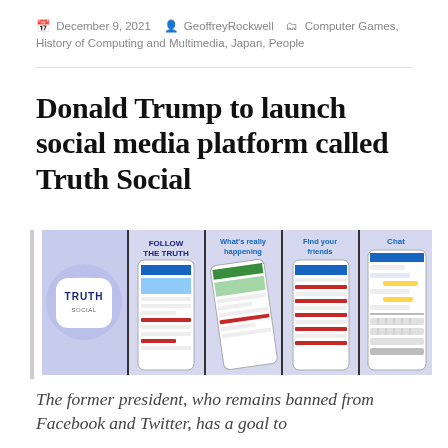December 9, 2021  GeoffreyRockwell  Computer Games, History of Computing and Multimedia, Japan, People
Donald Trump to launch social media platform called Truth Social
[Figure (screenshot): Promotional image showing the Truth Social app logo and four phone screens with headings: FOLLOW THE TRUTH, What's really happening, Find your friends, Chat]
The former president, who remains banned from Facebook and Twitter, has a goal to